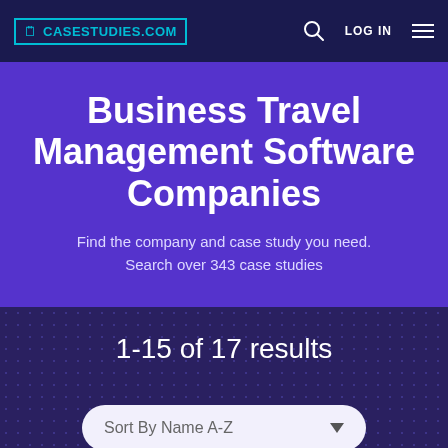CASESTUDIES.COM
Business Travel Management Software Companies
Find the company and case study you need. Search over 343 case studies
1-15 of 17 results
Sort By Name A-Z